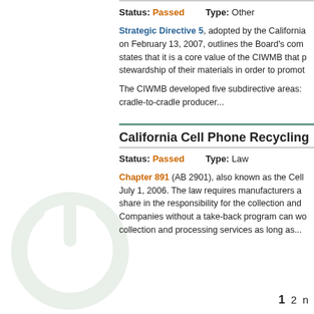Status: Passed   Type: Other
Strategic Directive 5, adopted by the California on February 13, 2007, outlines the Board's com states that it is a core value of the CIWMB that p stewardship of their materials in order to promot
The CIWMB developed five subdirective areas: cradle-to-cradle producer...
California Cell Phone Recycling
Status: Passed   Type: Law
Chapter 891 (AB 2901), also known as the Cell July 1, 2006. The law requires manufacturers a share in the responsibility for the collection and Companies without a take-back program can wo collection and processing services as long as...
1  2  n